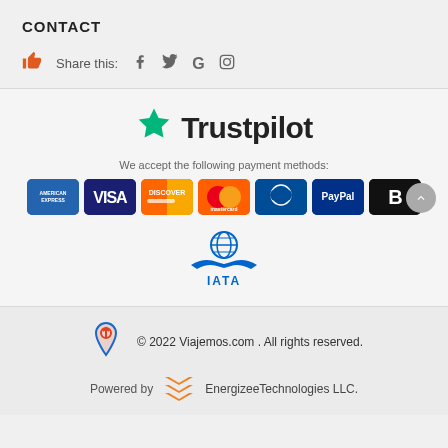CONTACT
Share this: [Facebook] [Twitter] [Google] [Instagram]
[Figure (logo): Trustpilot logo with green star]
We accept the following payment methods:
[Figure (infographic): Payment method icons: American Express, Visa, Discover, Mastercard, Diners Club, PayPal, Bold]
[Figure (logo): IATA logo with globe and wings]
[Figure (logo): Viajemos.com logo]
© 2022 Viajemos.com . All rights reserved.
[Figure (logo): Energizee Technologies stacked chevron logo]
Powered by EnergizeeTechnologies LLC.